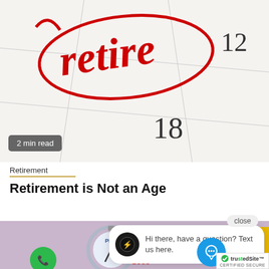[Figure (photo): Calendar page with 'Retire' written in red cursive and circled in red, showing numbers 12 and 18 on the calendar grid. Badge overlay reads '2 min read'.]
2 min read
Retirement
Retirement is Not an Age
[Figure (photo): Image of a stopwatch/clock showing 'PROFIT' and 'LOSS' labels, with red downward arrow and yellow bookmark shape. Green phone button bottom left, blue chat button bottom right, chat popup overlay, TrustedSite certified badge bottom right corner.]
close
Hi there, have a question? Text us here.